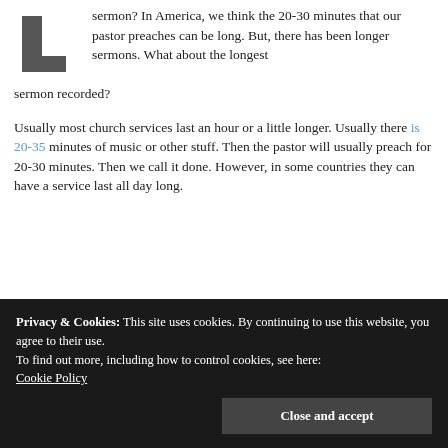sermon? In America, we think the 20-30 minutes that our pastor preaches can be long. But, there has been longer sermons. What about the longest sermon recorded?
Usually most church services last an hour or a little longer. Usually there is 20-35 minutes of music or other stuff. Then the pastor will usually preach for 20-30 minutes. Then we call it done. However, in some countries they can have a service last all day long.
[Figure (illustration): Illustration of a man with brown hair pointing upward with one finger, smiling with mouth open, partially emerging from behind a purple/lavender triangle shape. The man wears a light purple shirt.]
Privacy & Cookies: This site uses cookies. By continuing to use this website, you agree to their use.
To find out more, including how to control cookies, see here:
Cookie Policy